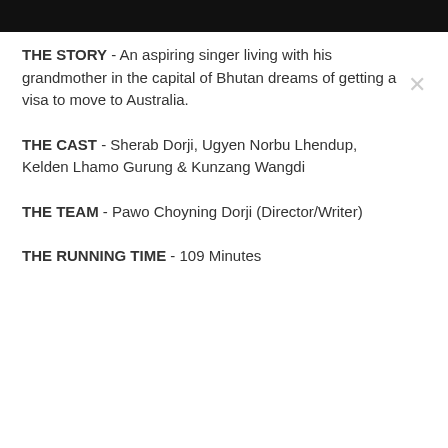[Figure (other): Black header bar at top of page]
THE STORY - An aspiring singer living with his grandmother in the capital of Bhutan dreams of getting a visa to move to Australia.
THE CAST - Sherab Dorji, Ugyen Norbu Lhendup, Kelden Lhamo Gurung & Kunzang Wangdi
THE TEAM - Pawo Choyning Dorji (Director/Writer)
THE RUNNING TIME - 109 Minutes